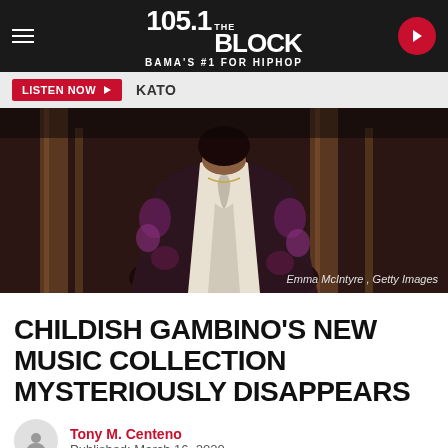105.1 THE BLOCK - BAMA'S #1 FOR HIPHOP
LISTEN NOW  KATO
[Figure (photo): Man wearing a dark floral jacket with white shirt, viewed from behind in an ornate interior setting. Photo credit: Emma McIntyre, Getty Images]
Emma McIntyre , Getty Images
CHILDISH GAMBINO'S NEW MUSIC COLLECTION MYSTERIOUSLY DISAPPEARS
Tony M. Centeno
Published: March 16, 2020